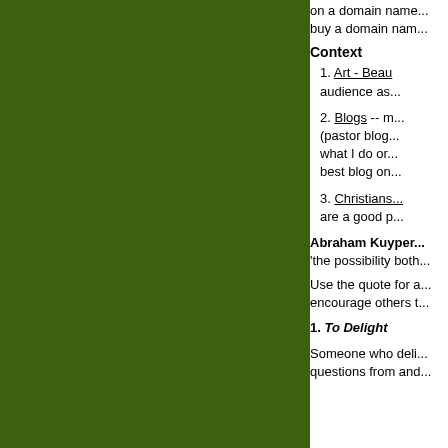...A person to talk on a domain name... buy a domain nam...
Context
1. Art - Beau... audience as...
2. Blogs -- m... (pastor blog... what I do or... best blog on...
3. Christians... are a good p...
Abraham Kuyper... 'the possibility both...
Use the quote for a... encourage others t...
1. To Delight
Someone who deli... questions from and...